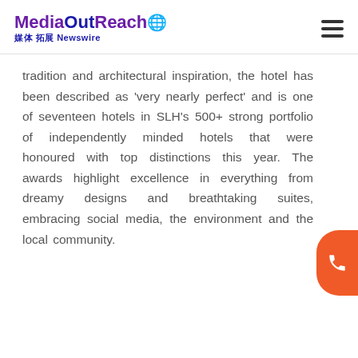MediaOutReach 媒体拓展 Newswire
tradition and architectural inspiration, the hotel has been described as 'very nearly perfect' and is one of seventeen hotels in SLH's 500+ strong portfolio of independently minded hotels that were honoured with top distinctions this year. The awards highlight excellence in everything from dreamy designs and breathtaking suites, embracing social media, the environment and the local community.